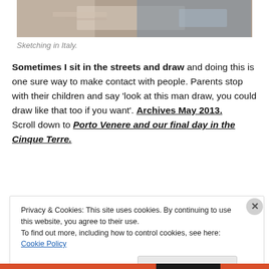[Figure (photo): Photo showing someone sketching outdoors in Italy, close-up of hands drawing on paper]
Sketching in Italy.
Sometimes I sit in the streets and draw and doing this is one sure way to make contact with people. Parents stop with their children and say ‘look at this man draw, you could draw like that too if you want’. Archives May 2013. Scroll down to Porto Venere and our final day in the Cinque Terre.
Privacy & Cookies: This site uses cookies. By continuing to use this website, you agree to their use.
To find out more, including how to control cookies, see here: Cookie Policy